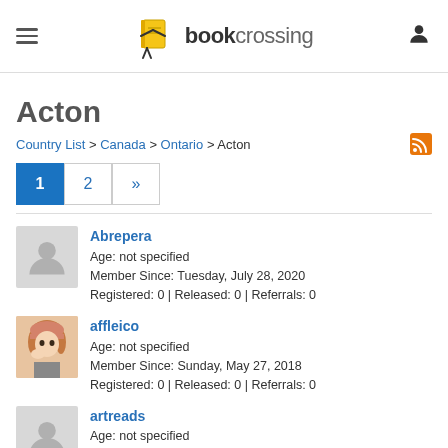bookcrossing — navigation header with hamburger menu and user icon
Acton
Country List > Canada > Ontario > Acton
Abrepera
Age: not specified
Member Since: Tuesday, July 28, 2020
Registered: 0 | Released: 0 | Referrals: 0
affleico
Age: not specified
Member Since: Sunday, May 27, 2018
Registered: 0 | Released: 0 | Referrals: 0
artreads
Age: not specified
Member Since: Tuesday, May 12, 2015
Registered: 0 | Released: 0 | Referrals: 0
audra_twirler